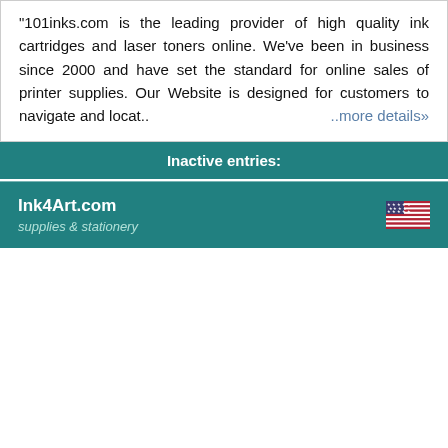"101inks.com is the leading provider of high quality ink cartridges and laser toners online. We've been in business since 2000 and have set the standard for online sales of printer supplies. Our Website is designed for customers to navigate and locat.. ..more details»
Inactive entries:
Ink4Art.com
supplies & stationery